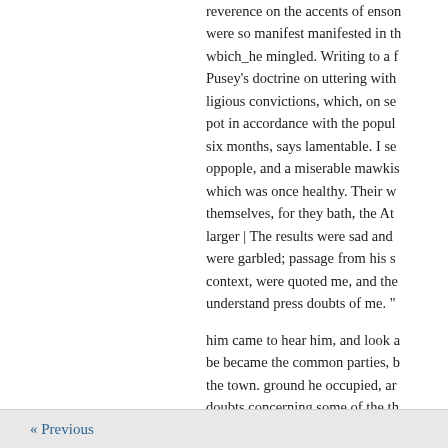reverence on the accents of enson were so manifest manifested in th wbich_he mingled. Writing to a f Pusey's doctrine on uttering with ligious convictions, which, on se pot in accordance with the popul six months, says lamentable. I se oppople, and a miserable mawkis which was once healthy. Their w themselves, for they bath, the At larger | The results were sad and were garbled; passage from his s context, were quoted me, and the understand press doubts of me. "
him came to hear him, and look a be became the common parties, b the town. ground he occupied, ar doubts concerning some of the th held. It became painful to him of convictions rently motiveless bit different from the rest of the wor revolutionary." that bis position w
« Previous